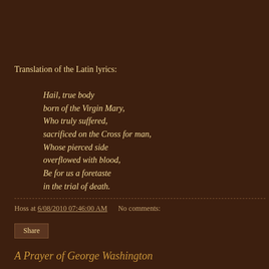Translation of the Latin lyrics:
Hail, true body
born of the Virgin Mary,
Who truly suffered,
sacrificed on the Cross for man,
Whose pierced side
overflowed with blood,
Be for us a foretaste
in the trial of death.
Hoss at 6/08/2010 07:46:00 AM   No comments:
Share
A Prayer of George Washington